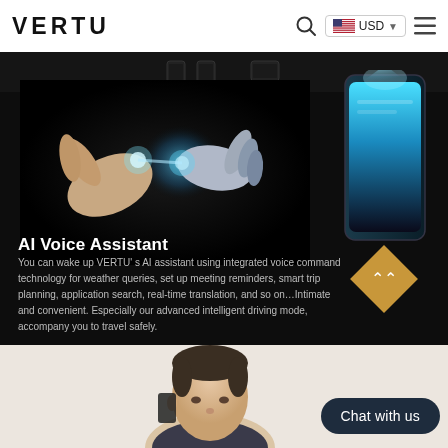VERTU
[Figure (screenshot): VERTU website header with logo, search icon, USD currency selector with US flag, and hamburger menu]
[Figure (photo): Dark background hero section showing AI hands touching with glowing light effect and a smartphone on the right, with gold diamond scroll button]
AI Voice Assistant
You can wake up VERTU’s AI assistant using integrated voice command technology for weather queries, set up meeting reminders, smart trip planning, application search, real-time translation, and so on…Intimate and convenient. Especially our advanced intelligent driving mode, accompany you to travel safely.
[Figure (photo): Light beige background section showing a man holding a phone to his ear, partial view from shoulders up]
Chat with us